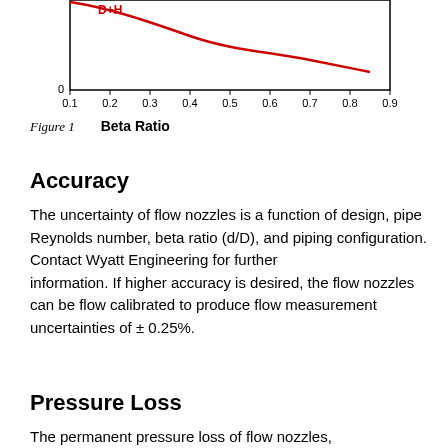[Figure (continuous-plot): Line chart showing a red curve declining from upper left to lower right, plotting a coefficient against Beta Ratio (x-axis from 0.1 to 0.9). The y-axis shows a value starting above 0, and the curve decreases monotonically. A red label 'D+H' is visible near the top of the curve.]
Figure 1          Beta Ratio
Accuracy
The uncertainty of flow nozzles is a function of design, pipe Reynolds number, beta ratio (d/D), and piping configuration. Contact Wyatt Engineering for further information. If higher accuracy is desired, the flow nozzles can be flow calibrated to produce flow measurement uncertainties of ± 0.25%.
Pressure Loss
The permanent pressure loss of flow nozzles,